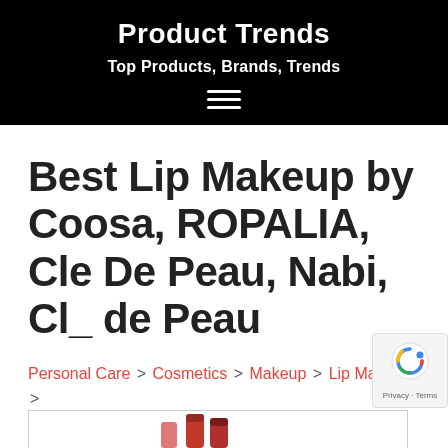Product Trends
Top Products, Brands, Trends
Best Lip Makeup by Coosa, ROPALIA, Cle De Peau, Nabi, Cl_ de Peau
Personal Care > Cosmetics > Makeup > Lip Makeup > Best Lip Makeup
[Figure (photo): Partially visible product image at the bottom of the page showing lip makeup products]